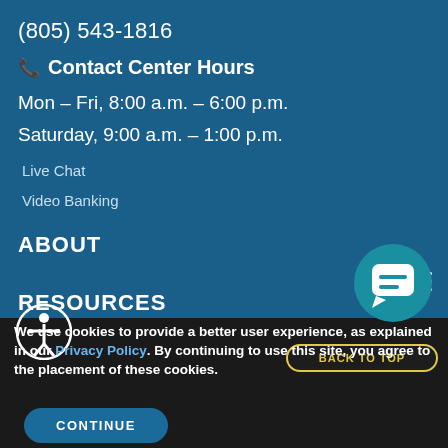(805) 543-1816
Contact Center Hours
Mon – Fri, 8:00 a.m. – 6:00 p.m.
Saturday, 9:00 a.m. – 1:00 p.m.
Live Chat
Video Banking
ABOUT
RESOURCES
[Figure (illustration): Chat bubble icon with two horizontal lines inside, on a teal circular background]
[Figure (illustration): Accessibility icon showing a person with arms extended inside a white circle outline on dark blue background]
We use cookies to provide a better user experience, as explained in our Privacy Policy. By continuing to use this site, you agree to the placement of these cookies.
BACK TO TOP
CONTINUE